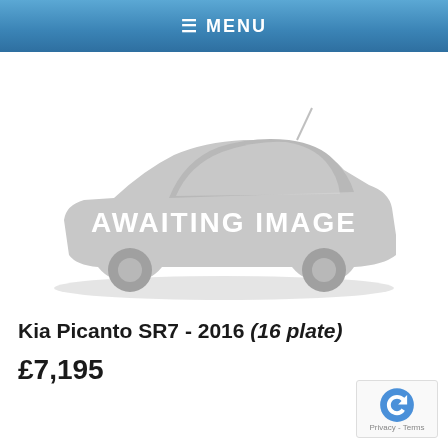≡ MENU
[Figure (illustration): Car silhouette placeholder image with text 'AWAITING IMAGE' overlaid in white capital letters on a grey car silhouette against a white background.]
Kia Picanto SR7 - 2016 (16 plate)
£7,195